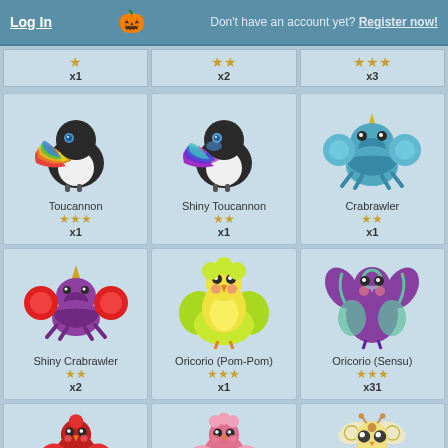Log In | Don't have an account yet? Register now!
| ★ x1 | ★★ x2 | ★★★ x3 |
| --- | --- | --- |
[Figure (illustration): Toucannon Pokemon sprite - colorful toucan bird]
Toucannon ★★★ x1
[Figure (illustration): Shiny Toucannon Pokemon sprite - purple/rainbow toucan]
Shiny Toucannon ★★ x1
[Figure (illustration): Crabrawler Pokemon sprite - blue crab]
Crabrawler ★★ x1
[Figure (illustration): Shiny Crabrawler Pokemon sprite - red/purple crab]
Shiny Crabrawler ★★ x2
[Figure (illustration): Oricorio Pom-Pom Pokemon sprite - yellow bird]
Oricorio (Pom-Pom) ★★★ x1
[Figure (illustration): Oricorio Sensu Pokemon sprite - purple bird]
Oricorio (Sensu) ★★★ x31
[Figure (illustration): Red Oricorio variant Pokemon sprite]
[Figure (illustration): Pink Oricorio variant Pokemon sprite]
[Figure (illustration): Cutiefly Pokemon sprite - small bee/butterfly]